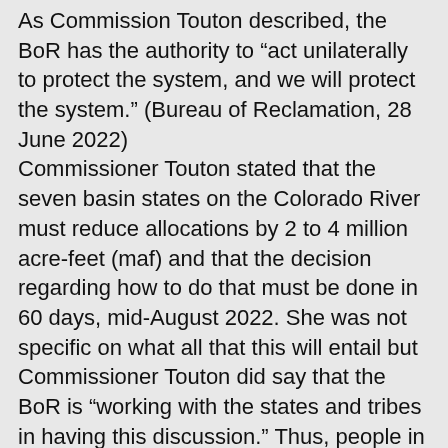As Commission Touton described, the BoR has the authority to “act unilaterally to protect the system, and we will protect the system.” (Bureau of Reclamation, 28 June 2022) Commissioner Touton stated that the seven basin states on the Colorado River must reduce allocations by 2 to 4 million acre-feet (maf) and that the decision regarding how to do that must be done in 60 days, mid-August 2022. She was not specific on what all that this will entail but Commissioner Touton did say that the BoR is “working with the states and tribes in having this discussion.” Thus, people in the seven basin states are working hard right now to develop proposals for consideration in addressing this immediate need. The U.S. Department of Interior has the authority and could impose cuts if the states fail to reach an agreement on their own. In the case of the Colorado River, by some estimates agriculture is responsible for nearly 80% of all Colorado River water allocations. However, with the fallowing and water transfers from one state to another that have taken place,